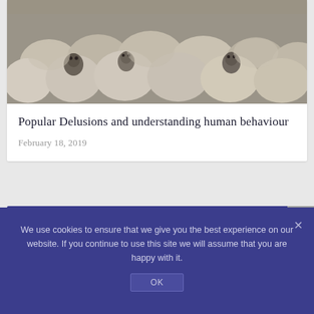[Figure (photo): A flock of sheep crowded together, photographed from above/front angle, black and white tones]
Popular Delusions and understanding human behaviour
February 18, 2019
RECENT POSTS
We use cookies to ensure that we give you the best experience on our website. If you continue to use this site we will assume that you are happy with it.
OK